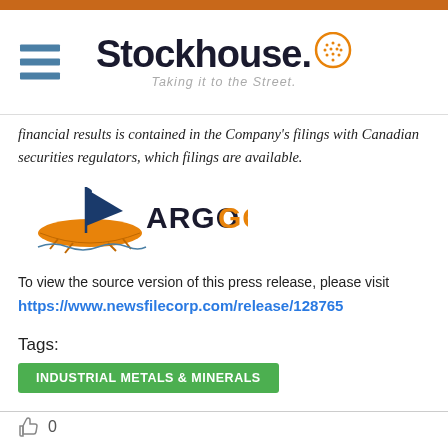Stockhouse - Taking it to the Street.
financial results is contained in the Company's filings with Canadian securities regulators, which filings are available.
[Figure (logo): Argo Gold company logo with Viking ship and text ARGO GOLD]
To view the source version of this press release, please visit https://www.newsfilecorp.com/release/128765
Tags:
INDUSTRIAL METALS & MINERALS
0